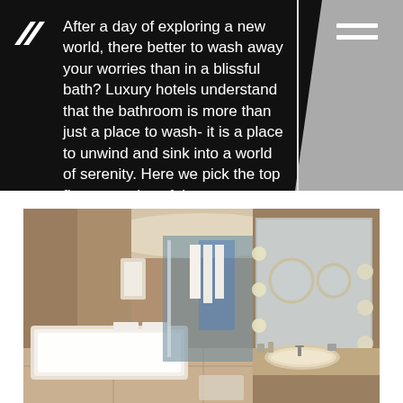[Figure (logo): White geometric logo resembling stacked parallelograms/chevrons in top-left corner]
After a day of exploring a new world, there better to wash away your worries than in a blissful bath? Luxury hotels understand that the bathroom is more than just a place to wash- it is a place to unwind and sink into a world of serenity. Here we pick the top five examples of these most luxurious
[Figure (photo): Interior photograph of a luxury hotel bathroom featuring marble walls and floors, a white soaking bathtub on the left, white towels hanging, a glass shower enclosure in the back with blue lighting, and a large illuminated vanity mirror with round bulb lights on the right side showing a double sink setup.]